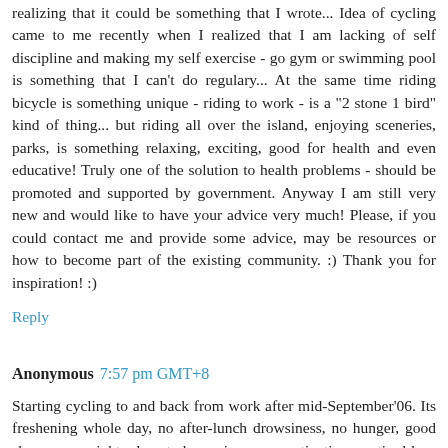realizing that it could be something that I wrote... Idea of cycling came to me recently when I realized that I am lacking of self discipline and making my self exercise - go gym or swimming pool is something that I can't do regulary... At the same time riding bicycle is something unique - riding to work - is a "2 stone 1 bird" kind of thing... but riding all over the island, enjoying sceneries, parks, is something relaxing, exciting, good for health and even educative! Truly one of the solution to health problems - should be promoted and supported by government. Anyway I am still very new and would like to have your advice very much! Please, if you could contact me and provide some advice, may be resources or how to become part of the existing community. :) Thank you for inspiration! :)
Reply
Anonymous 7:57 pm GMT+8
Starting cycling to and back from work after mid-September'06. Its freshening whole day, no after-lunch drowsiness, no hunger, good sleep every night, almost clear urine, no constipation, no tired legs from standing